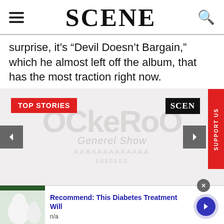SCENE
surprise, it’s “Devil Doesn’t Bargain,” which he almost left off the album, that has the most traction right now.
[Figure (screenshot): Carousel with TOP STORIES badge in red, SCEN black logo box, SUPPORT US vertical red tab on right, navigation arrows left and right, large watermark text in background]
[Figure (screenshot): Advertisement banner: image of white food items (garlic/eggs), text 'Recommend: This Diabetes Treatment Will', subtext 'n/a', blue arrow button, close X button]